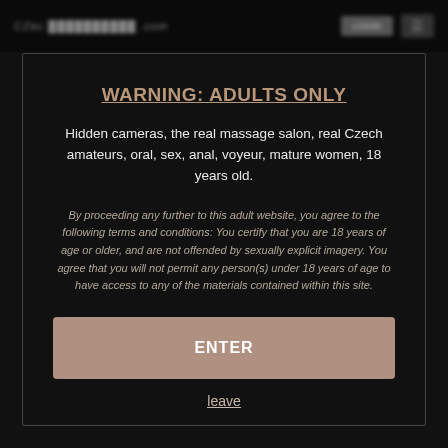CZech [blurred site name]
WARNING: ADULTS ONLY
Hidden cameras, the real massage salon, real Czech amateurs, oral, sex, anal, voyeur, mature women, 18 years old.
By proceeding any further to this adult website, you agree to the following terms and conditions: You certify that you are 18 years of age or older, and are not offended by sexually explicit imagery. You agree that you will not permit any person(s) under 18 years of age to have access to any of the materials contained within this site.
ENTER
leave